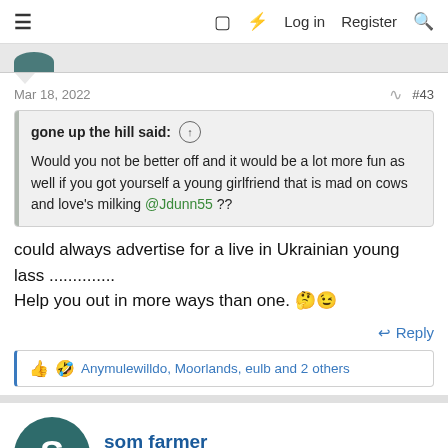≡  □ ⚡ Log in  Register 🔍
Mar 18, 2022  #43
gone up the hill said: ↑

Would you not be better off and it would be a lot more fun as well if you got yourself a young girlfriend that is mad on cows and love's milking @Jdunn55 ??
could always advertise for a live in Ukrainian young lass ............. Help you out in more ways than one. 🤔😉
↩ Reply
👍 🤣  Anymulewilldo, Moorlands, eulb and 2 others
som farmer
Member  Livestock Farmer